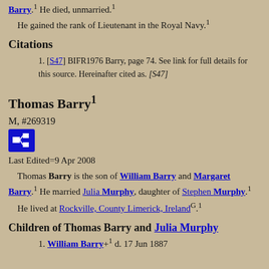Barry.1 He died, unmarried.1 He gained the rank of Lieutenant in the Royal Navy.1
Citations
[S47] BIFR1976 Barry, page 74. See link for full details for this source. Hereinafter cited as. [S47]
Thomas Barry1
M, #269319
[Figure (other): Blue icon button with family tree / pedigree chart symbol]
Last Edited=9 Apr 2008
Thomas Barry is the son of William Barry and Margaret Barry.1 He married Julia Murphy, daughter of Stephen Murphy.1
He lived at Rockville, County Limerick, IrelandG.1
Children of Thomas Barry and Julia Murphy
William Barry+ d. 17 Jun 1887